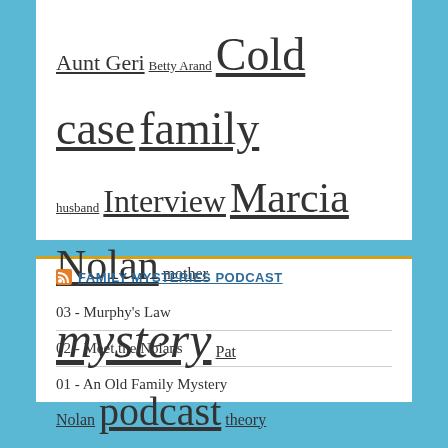Aunt Geri  Betty Arand  Cold case  family  husband  Interview  Marcia Nolan  mother  mystery  Pat Nolan  podcast  theory  Utah  Wilhelmi  Witness
FAMILY MYSTERIES PODCAST
03 - Murphy's Law
02 - Meet the Nolans
01 - An Old Family Mystery